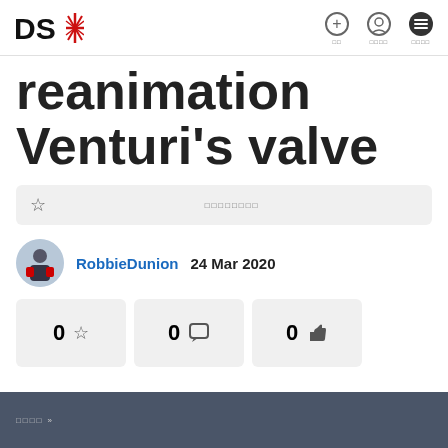DS* [logo] | navigation icons
reanimation Venturi's valve
☆ □□□□□□□□
RobbieDunion  24 Mar 2020
0 ☆   0 💬   0 👍
□□□□ »